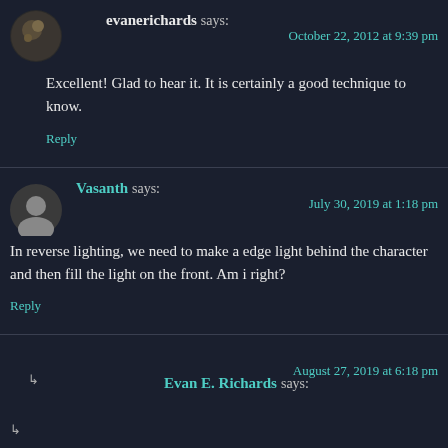evanerichards says: October 22, 2012 at 9:39 pm
Excellent! Glad to hear it. It is certainly a good technique to know.
Reply
Vasanth says: July 30, 2019 at 1:18 pm
In reverse lighting, we need to make a edge light behind the character and then fill the light on the front. Am i right?
Reply
Evan E. Richards says: August 27, 2019 at 6:18 pm